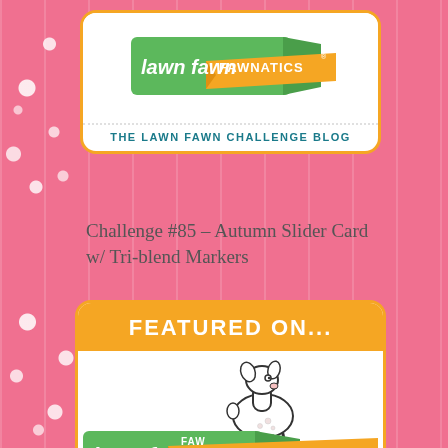[Figure (logo): Lawn Fawnatics logo - green shape with orange banner, white cursive text 'lawn fawn' and 'FAWNATICS']
THE LAWN FAWN CHALLENGE BLOG
Challenge #85 – Autumn Slider Card w/ Tri-blend Markers
FEATURED ON...
[Figure (logo): Lawn Fawnatics logo partial - deer illustration above green shape with orange banner, white cursive text 'lawn fawn' and 'FAWNATICS']